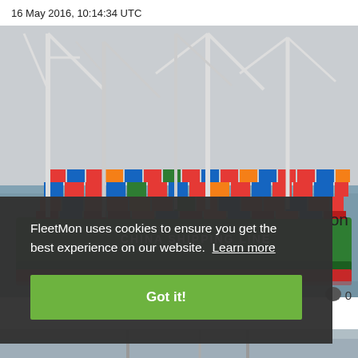16 May 2016, 10:14:34 UTC
[Figure (photo): China Shipping Line container ship loaded with colorful containers docked at a port with large cranes visible]
on
💬 0
FleetMon uses cookies to ensure you get the best experience on our website. Learn more
Got it!
[Figure (photo): Partial view of another port/shipping scene at the bottom]